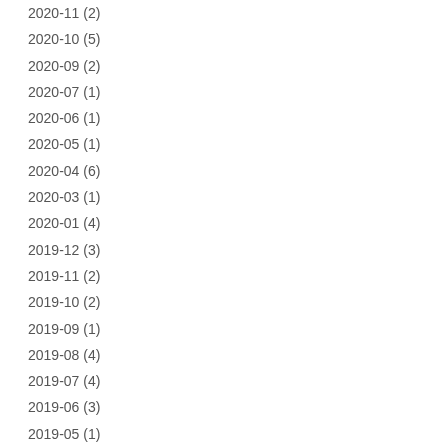2020-11  (2)
2020-10  (5)
2020-09  (2)
2020-07  (1)
2020-06  (1)
2020-05  (1)
2020-04  (6)
2020-03  (1)
2020-01  (4)
2019-12  (3)
2019-11  (2)
2019-10  (2)
2019-09  (1)
2019-08  (4)
2019-07  (4)
2019-06  (3)
2019-05  (1)
2019-04  (2)